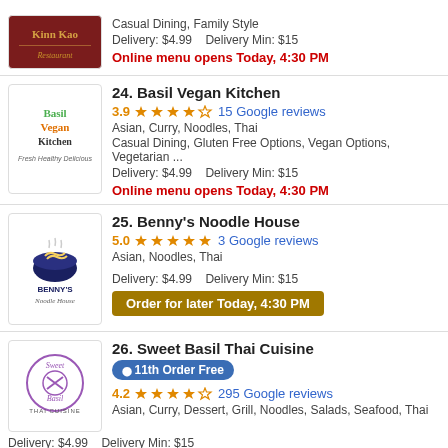[Figure (logo): Kinn Kao restaurant logo with dark red/brown background]
Casual Dining, Family Style
Delivery: $4.99    Delivery Min: $15
Online menu opens Today, 4:30 PM
24. Basil Vegan Kitchen
[Figure (logo): Basil Vegan Kitchen logo with green and orange text]
3.9 ★★★★☆ 15 Google reviews
Asian, Curry, Noodles, Thai
Casual Dining, Gluten Free Options, Vegan Options, Vegetarian ...
Delivery: $4.99    Delivery Min: $15
Online menu opens Today, 4:30 PM
25. Benny's Noodle House
[Figure (logo): Benny's Noodle House logo with noodle bowl illustration]
5.0 ★★★★★ 3 Google reviews
Asian, Noodles, Thai
Delivery: $4.99    Delivery Min: $15
Order for later Today, 4:30 PM
26. Sweet Basil Thai Cuisine
[Figure (logo): Sweet Basil Thai Cuisine logo]
11th Order Free
4.2 ★★★★☆ 295 Google reviews
Asian, Curry, Dessert, Grill, Noodles, Salads, Seafood, Thai
Delivery: $4.99    Delivery Min: $15
Online menu opens Today, 4:30 PM